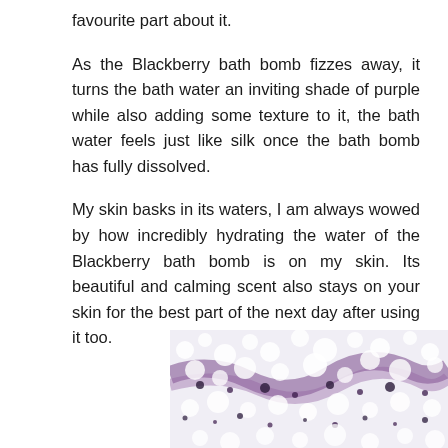favourite part about it.
As the Blackberry bath bomb fizzes away, it turns the bath water an inviting shade of purple while also adding some texture to it, the bath water feels just like silk once the bath bomb has fully dissolved.
My skin basks in its waters, I am always wowed by how incredibly hydrating the water of the Blackberry bath bomb is on my skin. Its beautiful and calming scent also stays on your skin for the best part of the next day after using it too.
[Figure (photo): Close-up photo of purple and white foamy bath water with bubbles, showing the dissolved Blackberry bath bomb effect]